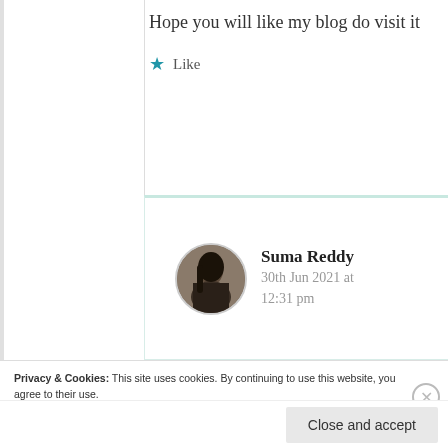Hope you will like my blog do visit it
★ Like
Suma Reddy
30th Jun 2021 at 12:31 pm
Privacy & Cookies: This site uses cookies. By continuing to use this website, you agree to their use. To find out more, including how to control cookies, see here: Cookie Policy
Close and accept